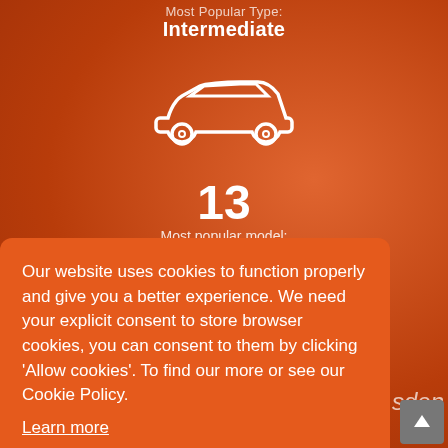Most Popular Type:
Intermediate
[Figure (illustration): White line-art icon of a sedan/intermediate car on orange background]
13
Most popular model:
BMW 1 Series
Our website uses cookies to function properly and give you a better experience. We need your explicit consent to store browser cookies, you can consent to them by clicking 'Allow cookies'. To find our more or see our Cookie Policy.
Learn more
Allow Cookies
sden